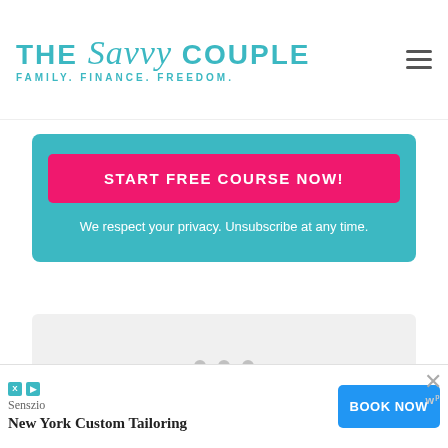[Figure (logo): The Savvy Couple logo with tagline FAMILY. FINANCE. FREEDOM. in teal color, and hamburger menu icon on the right]
START FREE COURSE NOW!
We respect your privacy. Unsubscribe at any time.
[Figure (other): Light grey carousel/slider area with three navigation dots below]
Senszio
New York Custom Tailoring
BOOK NOW